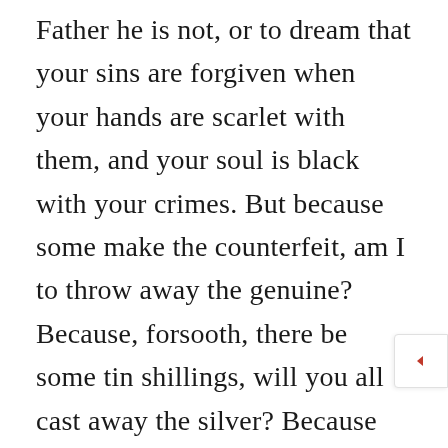Father he is not, or to dream that your sins are forgiven when your hands are scarlet with them, and your soul is black with your crimes. But because some make the counterfeit, am I to throw away the genuine? Because, forsooth, there be some tin shillings, will you all cast away the silver? Because some pass upon you the base forged bank-note, will you therefore burn those which really come from the bank? I trow not. And, my dear brethren, if thousands presumed, that would not be an argument why one true Christian should